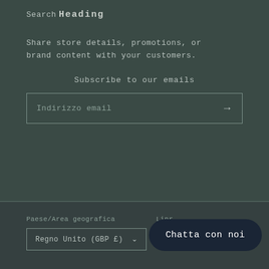Search
Heading
Share store details, promotions, or brand content with your customers.
Subscribe to our emails
Indirizzo email
Paese/Area geografica
Regno Unito (GBP £)
Linr
Chatta con noi